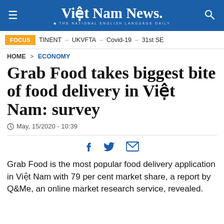Việt Nam News. THE NATIONAL ENGLISH LANGUAGE DAILY
FOCUS  TINENT – UKVFTA – Covid-19 – 31st SE
HOME > ECONOMY
Grab Food takes biggest bite of food delivery in Việt Nam: survey
May, 15/2020 - 10:39
Grab Food is the most popular food delivery application in Việt Nam with 79 per cent market share, a report by Q&Me, an online market research service, revealed.